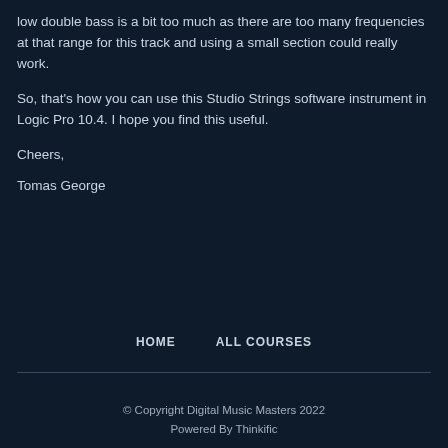low double bass is a bit too much as there are too many frequencies at that range for this track and using a small section could really work.
So, that's how you can use this Studio Strings software instrument in Logic Pro 10.4. I hope you find this useful.
Cheers,
Tomas George
HOME    ALL COURSES
© Copyright Digital Music Masters 2022
Powered By Thinkific